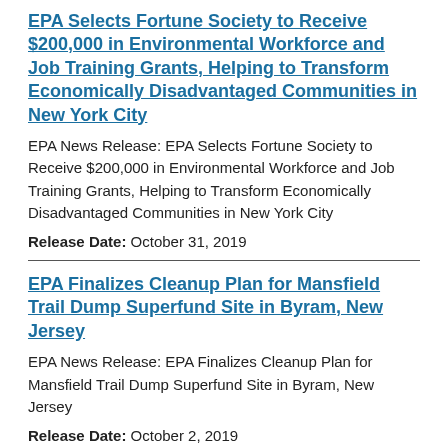EPA Selects Fortune Society to Receive $200,000 in Environmental Workforce and Job Training Grants, Helping to Transform Economically Disadvantaged Communities in New York City
EPA News Release: EPA Selects Fortune Society to Receive $200,000 in Environmental Workforce and Job Training Grants, Helping to Transform Economically Disadvantaged Communities in New York City
Release Date: October 31, 2019
EPA Finalizes Cleanup Plan for Mansfield Trail Dump Superfund Site in Byram, New Jersey
EPA News Release: EPA Finalizes Cleanup Plan for Mansfield Trail Dump Superfund Site in Byram, New Jersey
Release Date: October 2, 2019